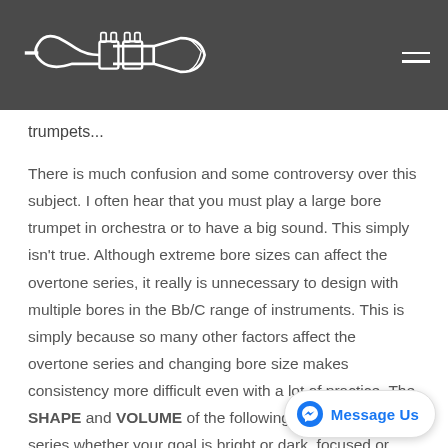Trumpet logo and navigation
trumpets...
There is much confusion and some controversy over this subject. I often hear that you must play a large bore trumpet in orchestra or to have a big sound. This simply isn't true. Although extreme bore sizes can affect the overtone series, it really is unnecessary to design with multiple bores in the Bb/C range of instruments. This is simply because so many other factors affect the overtone series and changing bore size makes consistency more difficult even with a lot of practice. The SHAPE and VOLUME of the following can greatly affe... series whether your goal is bright or dark, focused or